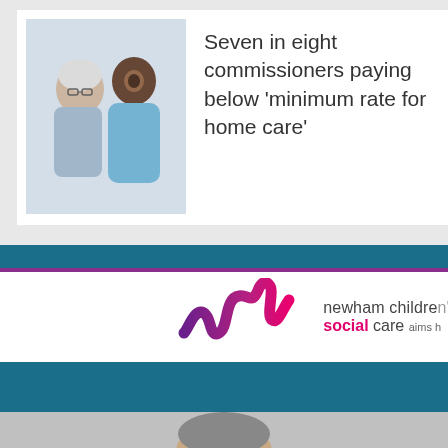[Figure (photo): Photo of an older man with glasses being assisted or spoken to by a younger woman in a blue top, shown from the shoulders up]
Seven in eight commissioners paying below 'minimum rate for home care'
[Figure (logo): Newham Children's Social Care logo with a stylised checkmark/wave in purple and pink gradient, text reads 'newham children's social care aims h...']
More from Community Care
[Figure (photo): Partial photo visible at bottom of page, appears to be a person]